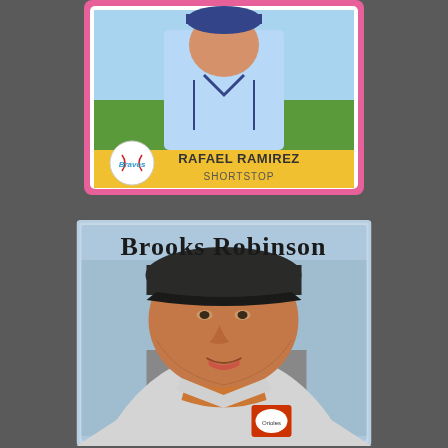[Figure (photo): 1981 Fleer baseball card of Rafael Ramirez, Atlanta Braves Shortstop. Card has a pink border with a yellow name banner. Player is shown in a light blue Braves uniform. A baseball logo with 'Braves' text is in the lower left. Text reads 'RAFAEL RAMIREZ' and 'SHORTSTOP'.]
[Figure (photo): Vintage baseball card of Brooks Robinson, Baltimore Orioles. Light blue background. Player shown in close-up portrait wearing dark cap and gray uniform with Orioles logo. 'Brooks Robinson' written in large bold dark text at the top of the card.]